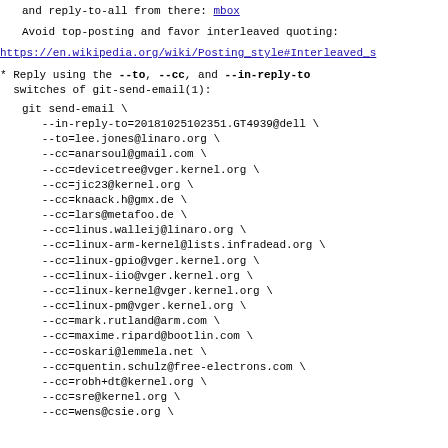and reply-to-all from there: mbox
Avoid top-posting and favor interleaved quoting:
https://en.wikipedia.org/wiki/Posting_style#Interleaved_s
* Reply using the --to, --cc, and --in-reply-to
  switches of git-send-email(1):
git send-email \
    --in-reply-to=20181025102351.GT4939@dell \
    --to=lee.jones@linaro.org \
    --cc=anarsoul@gmail.com \
    --cc=devicetree@vger.kernel.org \
    --cc=jic23@kernel.org \
    --cc=knaack.h@gmx.de \
    --cc=lars@metafoo.de \
    --cc=linus.walleij@linaro.org \
    --cc=linux-arm-kernel@lists.infradead.org \
    --cc=linux-gpio@vger.kernel.org \
    --cc=linux-iio@vger.kernel.org \
    --cc=linux-kernel@vger.kernel.org \
    --cc=linux-pm@vger.kernel.org \
    --cc=mark.rutland@arm.com \
    --cc=maxime.ripard@bootlin.com \
    --cc=oskari@lemmela.net \
    --cc=quentin.schulz@free-electrons.com \
    --cc=robh+dt@kernel.org \
    --cc=sre@kernel.org \
    --cc=wens@csie.org \